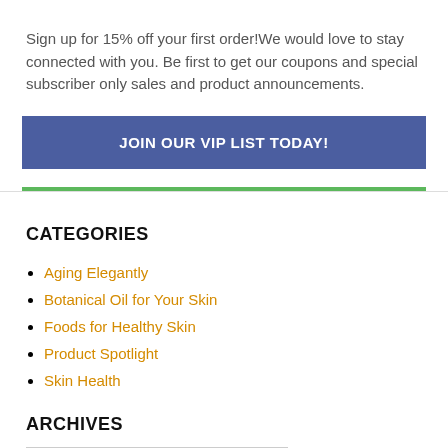Sign up for 15% off your first order!We would love to stay connected with you. Be first to get our coupons and special subscriber only sales and product announcements.
JOIN OUR VIP LIST TODAY!
CATEGORIES
Aging Elegantly
Botanical Oil for Your Skin
Foods for Healthy Skin
Product Spotlight
Skin Health
ARCHIVES